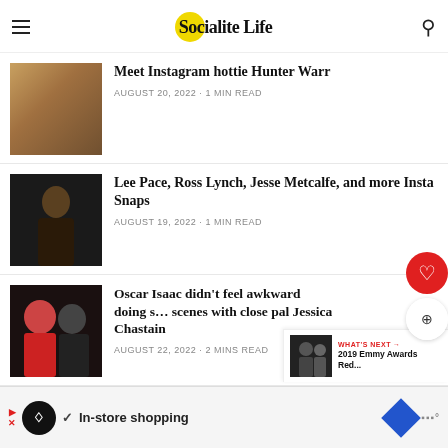Socialite Life
Meet Instagram hottie Hunter Warr
AUGUST 20, 2022 · 1 MIN READ
[Figure (photo): Thumbnail photo for Meet Instagram hottie Hunter Warr article]
Lee Pace, Ross Lynch, Jesse Metcalfe, and more Insta Snaps
AUGUST 19, 2022 · 1 MIN READ
[Figure (photo): Thumbnail photo of Lee Pace in black outfit]
Oscar Isaac didn't feel awkward doing s… scenes with close pal Jessica Chastain
AUGUST 22, 2022 · 2 MINS READ
[Figure (photo): Thumbnail photo of Oscar Isaac and Jessica Chastain]
WHAT'S NEXT → 2019 Emmy Awards Red...
[Figure (photo): In-store shopping advertisement banner]